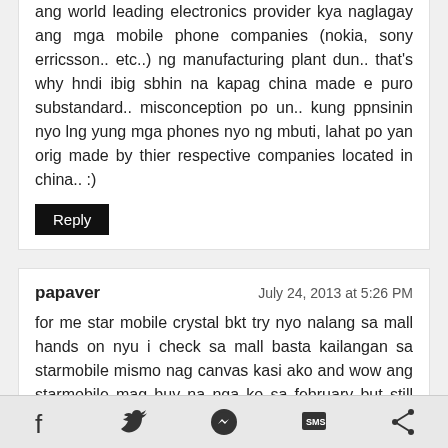ang world leading electronics provider kya naglagay ang mga mobile phone companies (nokia, sony erricsson.. etc..) ng manufacturing plant dun.. that's why hndi ibig sbhin na kapag china made e puro substandard.. misconception po un.. kung ppnsinin nyo lng yung mga phones nyo ng mbuti, lahat po yan orig made by thier respective companies located in china.. :)
Reply
papaver
July 24, 2013 at 5:26 PM
for me star mobile crystal bkt try nyo nalang sa mall hands on nyu i check sa mall basta kailangan sa starmobile mismo nag canvas kasi ako and wow ang starmobile mag buy na nga ko sa february but still checking if ever may lumabas na mas ok na phone pero da BEST talaga sa 3 ang crystal try nyu nalang sa mall....
Reply
Modesto Noble
July 24, 2013 at 5:27 PM